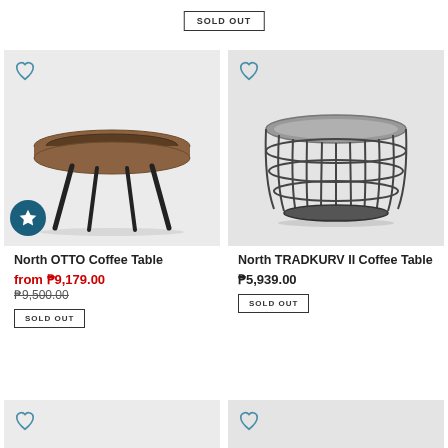SOLD OUT
[Figure (photo): Round tray-top coffee table with walnut-colored wood tray and black metal legs on light grey background]
[Figure (photo): Round wire frame coffee table with dark metal cage-style base and grey top on light grey background]
North OTTO Coffee Table
from ₱9,179.00
₱9,500.00
SOLD OUT
North TRADKURV II Coffee Table
₱5,939.00
SOLD OUT